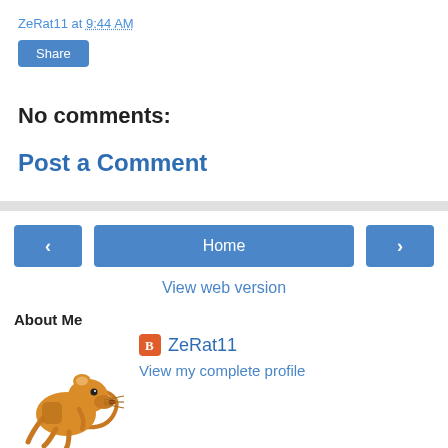ZeRat11 at 9:44 AM
Share
No comments:
Post a Comment
Home
View web version
About Me
ZeRat11
View my complete profile
Powered by Blogger.